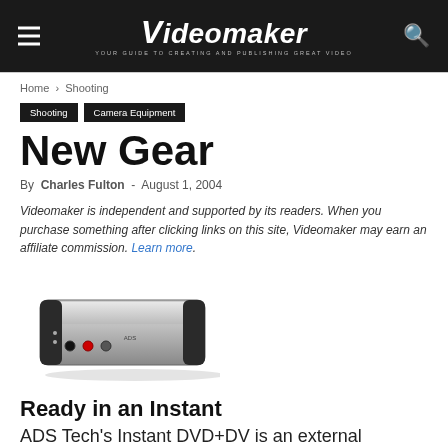Videomaker — YOUR GUIDE TO CREATING AND PUBLISHING GREAT VIDEO
Home › Shooting
Shooting   Camera Equipment
New Gear
By Charles Fulton - August 1, 2004
Videomaker is independent and supported by its readers. When you purchase something after clicking links on this site, Videomaker may earn an affiliate commission. Learn more.
[Figure (photo): Photo of ADS Tech Instant DVD+DV external device — a silver and black rectangular unit with ports on the front]
Ready in an Instant
ADS Tech's Instant DVD+DV is an external